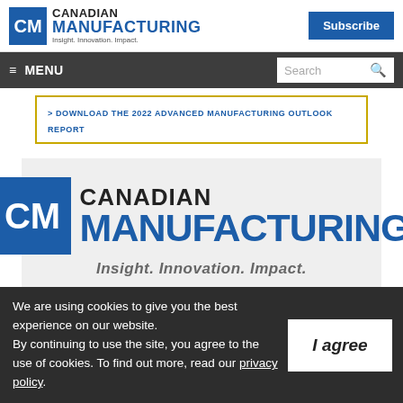CANADIAN MANUFACTURING — Insight. Innovation. Impact. | Subscribe
≡ MENU | Search
> DOWNLOAD THE 2022 ADVANCED MANUFACTURING OUTLOOK REPORT
[Figure (logo): Canadian Manufacturing logo — CM icon with 'CANADIAN MANUFACTURING' and tagline 'Insight. Innovation. Impact.']
We are using cookies to give you the best experience on our website. By continuing to use the site, you agree to the use of cookies. To find out more, read our privacy policy.